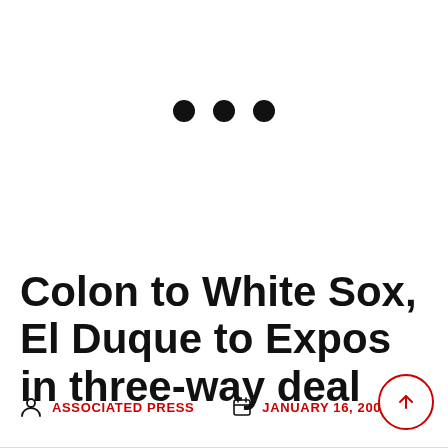[Figure (other): Three black dots (loading indicator or ellipsis decoration) centered in the upper portion of the page]
Colon to White Sox, El Duque to Expos in three-way deal
ASSOCIATED PRESS   JANUARY 16, 2003